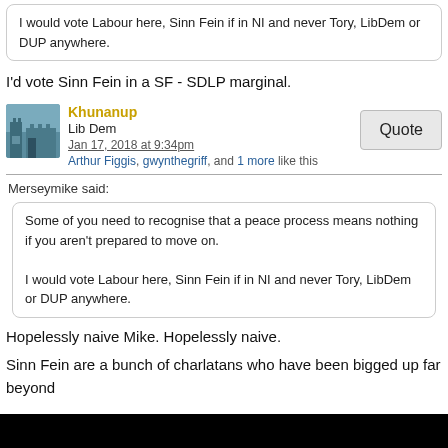I would vote Labour here, Sinn Fein if in NI and never Tory, LibDem or DUP anywhere.
I'd vote Sinn Fein in a SF - SDLP marginal.
Khunanup
Lib Dem
Jan 17, 2018 at 9:34pm
Arthur Figgis, gwynthegriff, and 1 more like this
Merseymike said:
Some of you need to recognise that a peace process means nothing if you aren't prepared to move on.

I would vote Labour here, Sinn Fein if in NI and never Tory, LibDem or DUP anywhere.
Hopelessly naive Mike. Hopelessly naive.
Sinn Fein are a bunch of charlatans who have been bigged up far beyond